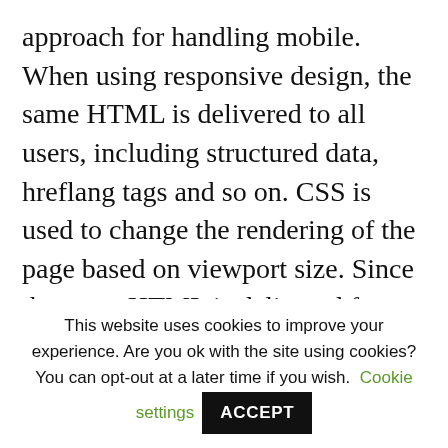approach for handling mobile. When using responsive design, the same HTML is delivered to all users, including structured data, hreflang tags and so on. CSS is used to change the rendering of the page based on viewport size. Since the same HTML is delivered for both desktop and mobile users, the move to a mobile-first index shouldn't impact sites using responsive design at all.
But when using a separate mobile URL...
This website uses cookies to improve your experience. Are you ok with the site using cookies? You can opt-out at a later time if you wish. Cookie settings ACCEPT